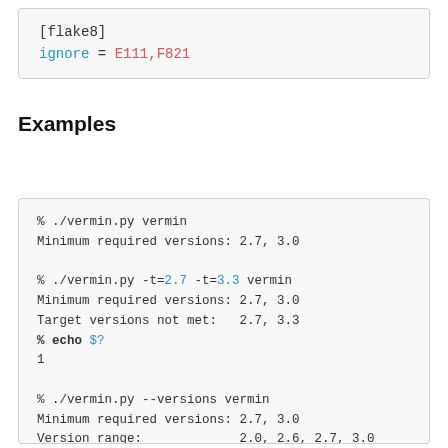[flake8]
ignore = E111,F821
Examples
% ./vermin.py vermin
Minimum required versions: 2.7, 3.0

% ./vermin.py -t=2.7 -t=3.3 vermin
Minimum required versions: 2.7, 3.0
Target versions not met:   2.7, 3.3
% echo $?
1

% ./vermin.py --versions vermin
Minimum required versions: 2.7, 3.0
Version range:             2.0, 2.6, 2.7, 3.0

% ./vermin.py -v examples
Detecting python files..